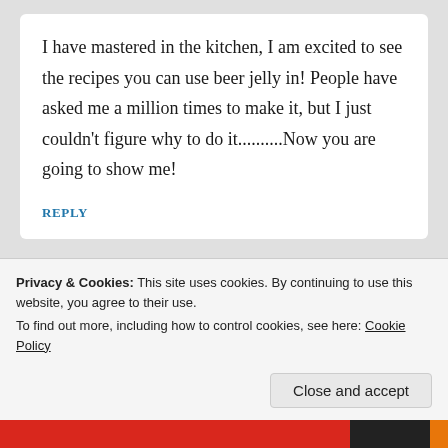I have mastered in the kitchen, I am excited to see the recipes you can use beer jelly in! People have asked me a million times to make it, but I just couldn't figure why to do it..........Now you are going to show me!
REPLY
creativenoshing
Privacy & Cookies: This site uses cookies. By continuing to use this website, you agree to their use. To find out more, including how to control cookies, see here: Cookie Policy
Close and accept